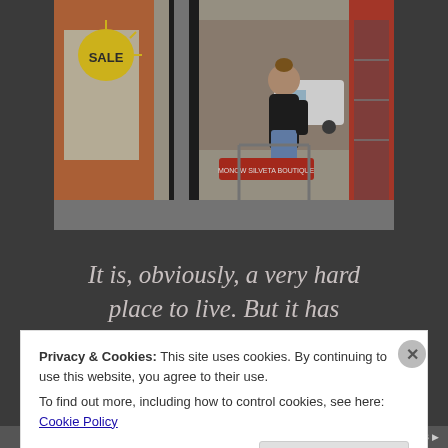[Figure (photo): Street scene outside a boutique shop. A woman in a black top and blue jeans apron stands near a clothing rack on the sidewalk. A van is visible in the background. A yellow sale sign is in the shop window.]
It is, obviously, a very hard place to live. But it has “its goods and its bads”
Privacy & Cookies: This site uses cookies. By continuing to use this website, you agree to their use.
To find out more, including how to control cookies, see here: Cookie Policy
Close and accept